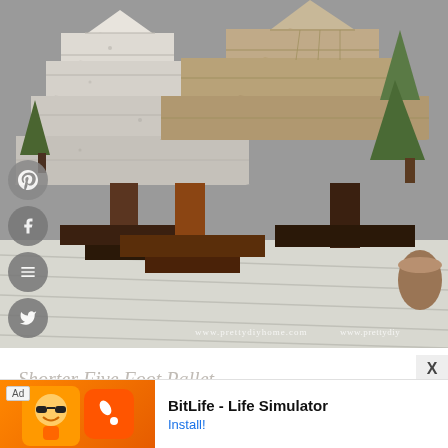[Figure (photo): DIY wooden pallet Christmas trees made from reclaimed wood planks arranged in a triangular tree shape, with a dark brown cross base and a white-painted version next to a natural wood version, displayed on a white deck with small evergreen trees in the background. Watermarks read 'www.prettydiyhome.com' on both sides.]
Shorter Five Foot Pallet...
[Figure (screenshot): Advertisement banner for BitLife - Life Simulator app. Shows 'Ad' label, a cartoon character, BitLife logo (orange sperm icon on orange background), app name 'BitLife - Life Simulator', and 'Install!' button link.]